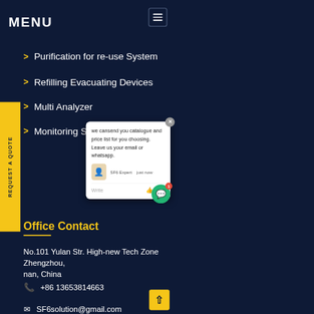MENU
Purification for re-use System
Refilling Evacuating Devices
Multi Analyzer
Monitoring System
[Figure (screenshot): Chat popup widget showing message: 'we cansend you catalogue and price list for you choosing. Leave us your email or whatsapp.' with SF6 Expert agent, write field, and green chat button with badge '1']
Office Contact
No.101 Yulan Str. High-new Tech Zone Zhengzhou, nan, China
+86 13653814663
SF6solution@gmail.com